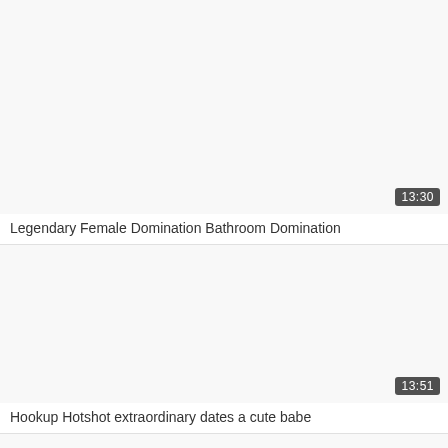[Figure (screenshot): Video thumbnail placeholder, light gray background with duration badge showing 13:30]
Legendary Female Domination Bathroom Domination
[Figure (screenshot): Video thumbnail placeholder, light gray background with duration badge showing 13:51]
Hookup Hotshot extraordinary dates a cute babe
[Figure (screenshot): Video thumbnail placeholder, light gray background, partial view]